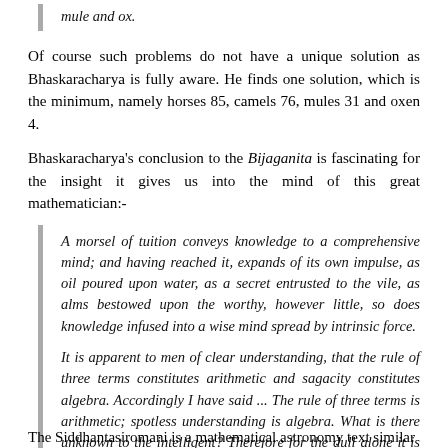mule and ox.
Of course such problems do not have a unique solution as Bhaskaracharya is fully aware. He finds one solution, which is the minimum, namely horses 85, camels 76, mules 31 and oxen 4.
Bhaskaracharya's conclusion to the Bijaganita is fascinating for the insight it gives us into the mind of this great mathematician:-
A morsel of tuition conveys knowledge to a comprehensive mind; and having reached it, expands of its own impulse, as oil poured upon water, as a secret entrusted to the vile, as alms bestowed upon the worthy, however little, so does knowledge infused into a wise mind spread by intrinsic force.
It is apparent to men of clear understanding, that the rule of three terms constitutes arithmetic and sagacity constitutes algebra. Accordingly I have said ... The rule of three terms is arithmetic; spotless understanding is algebra. What is there unknown to the intelligent? Therefore for the dull alone it is set forth.
The Siddhantasiromani is a mathematical astronomy text similar